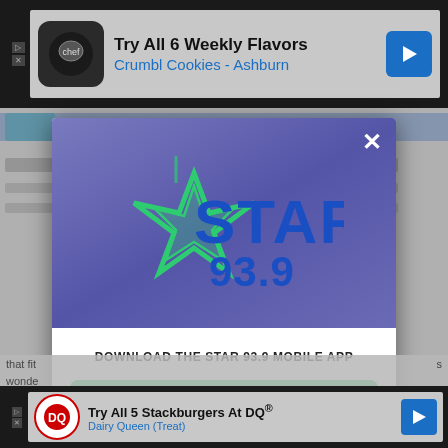[Figure (screenshot): Top advertisement banner for Crumbl Cookies - Ashburn with text 'Try All 6 Weekly Flavors']
[Figure (logo): Star 93.9 radio station logo in green and blue with star graphic in modal popup dialog]
DOWNLOAD THE STAR 93.9 MOBILE APP
GET OUR FREE MOBILE APP
Also listen on: amazon alexa
[Figure (screenshot): Bottom advertisement banner for Dairy Queen with text 'Try All 5 Stackburgers At DQ']